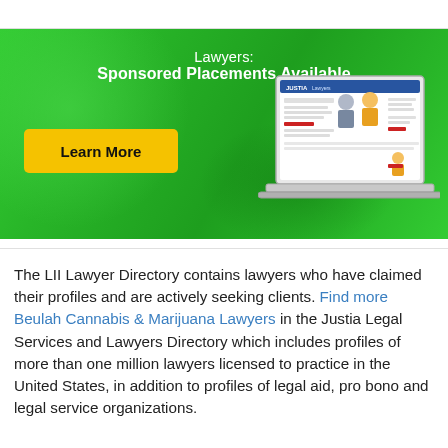[Figure (infographic): Green banner advertisement for Justia Lawyers sponsored placements. Contains text 'Lawyers: Sponsored Placements Available', a yellow 'Learn More' button, and an illustration of a laptop showing the Justia Lawyers directory website with cartoon lawyer figures.]
The LII Lawyer Directory contains lawyers who have claimed their profiles and are actively seeking clients. Find more Beulah Cannabis & Marijuana Lawyers in the Justia Legal Services and Lawyers Directory which includes profiles of more than one million lawyers licensed to practice in the United States, in addition to profiles of legal aid, pro bono and legal service organizations.